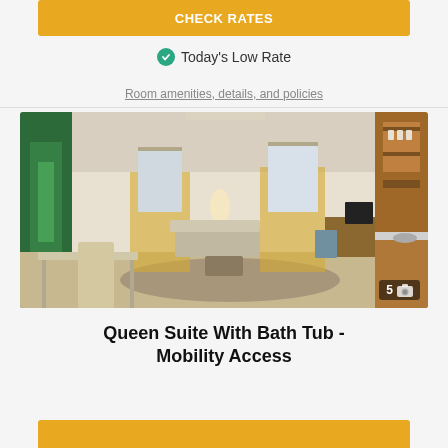CHECK RATES
✔ Today's Low Rate
Room amenities, details, and policies
[Figure (photo): Hotel suite interior showing open plan living area with kitchen on right, dining table on left, living area with sofa, ottoman, and TV desk in the background, yellow accent walls and wooden cabinetry. Photo counter shows 5 images.]
Queen Suite With Bath Tub - Mobility Access